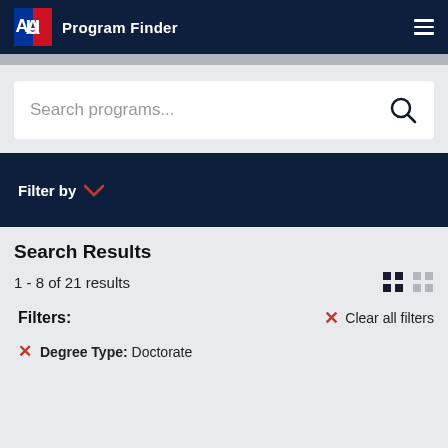Program Finder
Search programs...
Filter by
Search Results
1 - 8 of 21 results
Filters:
Clear all filters
Degree Type: Doctorate